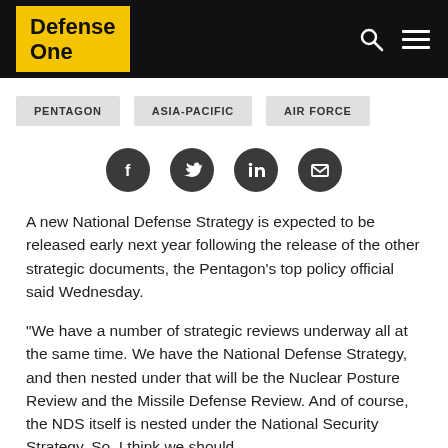Defense One
PENTAGON
ASIA-PACIFIC
AIR FORCE
[Figure (infographic): Social sharing icons: Facebook, Twitter, LinkedIn, Email]
A new National Defense Strategy is expected to be released early next year following the release of the other strategic documents, the Pentagon's top policy official said Wednesday.
“We have a number of strategic reviews underway all at the same time. We have the National Defense Strategy, and then nested under that will be the Nuclear Posture Review and the Missile Defense Review. And of course, the NDS itself is nested under the National Security Strategy. So, I think we should